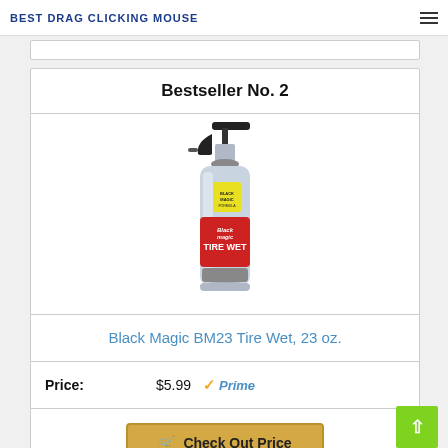BEST DRAG CLICKING MOUSE
Bestseller No. 2
[Figure (photo): Black Magic BM23 Tire Wet spray bottle, 23 oz, with black trigger sprayer and red/silver label]
Black Magic BM23 Tire Wet, 23 oz.
Price: $5.99 Prime
Check Out Price